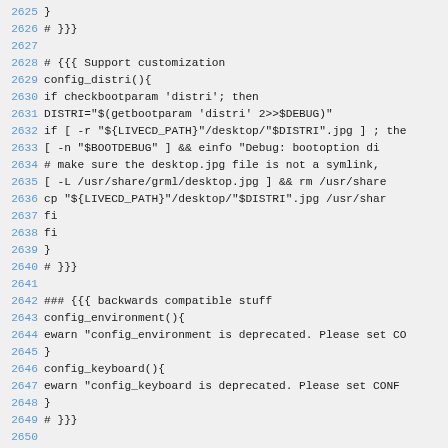Source code listing lines 2625–2651